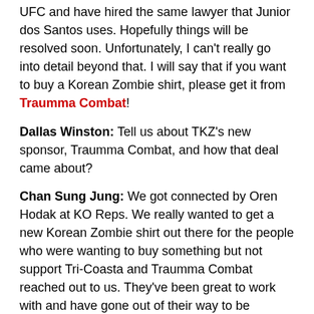UFC and have hired the same lawyer that Junior dos Santos uses. Hopefully things will be resolved soon. Unfortunately, I can't really go into detail beyond that. I will say that if you want to buy a Korean Zombie shirt, please get it from Traumma Combat!
Dallas Winston: Tell us about TKZ's new sponsor, Traumma Combat, and how that deal came about?
Chan Sung Jung: We got connected by Oren Hodak at KO Reps. We really wanted to get a new Korean Zombie shirt out there for the people who were wanting to buy something but not support Tri-Coasta and Traumma Combat reached out to us. They've been great to work with and have gone out of their way to be accommodating to me.